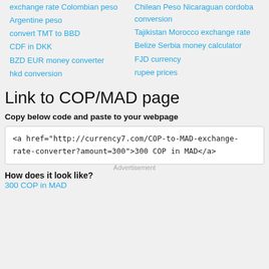exchange rate Colombian peso
Chilean Peso Nicaraguan cordoba conversion
Argentine peso
Tajikistan Morocco exchange rate
convert TMT to BBD
Belize Serbia money calculator
CDF in DKK
FJD currency
BZD EUR money converter
rupee prices
hkd conversion
Link to COP/MAD page
Copy below code and paste to your webpage
<a href="http://currency7.com/COP-to-MAD-exchange-rate-converter?amount=300">300 COP in MAD</a>
How does it look like?
300 COP in MAD
Advertisement